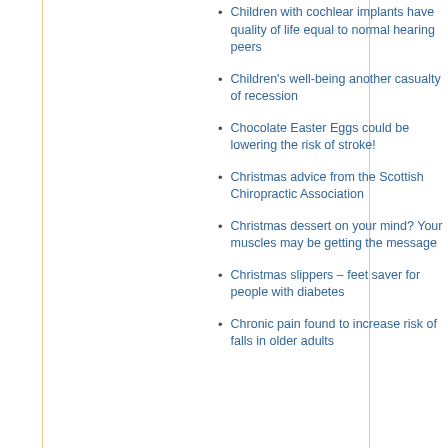Children with cochlear implants have quality of life equal to normal hearing peers
Children's well-being another casualty of recession
Chocolate Easter Eggs could be lowering the risk of stroke!
Christmas advice from the Scottish Chiropractic Association
Christmas dessert on your mind? Your muscles may be getting the message
Christmas slippers – feet saver for people with diabetes
Chronic pain found to increase risk of falls in older adults